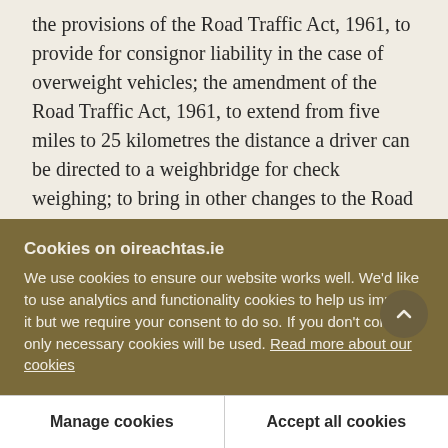the provisions of the Road Traffic Act, 1961, to provide for consignor liability in the case of overweight vehicles; the amendment of the Road Traffic Act, 1961, to extend from five miles to 25 kilometres the distance a driver can be directed to a weighbridge for check weighing; to bring in other changes to the Road Transport Acts, 1933 to 1986, of a technical nature.
It would be useful to outline the background to the
Cookies on oireachtas.ie
We use cookies to ensure our website works well. We'd like to use analytics and functionality cookies to help us improve it but we require your consent to do so. If you don't consent, only necessary cookies will be used. Read more about our cookies
Manage cookies
Accept all cookies